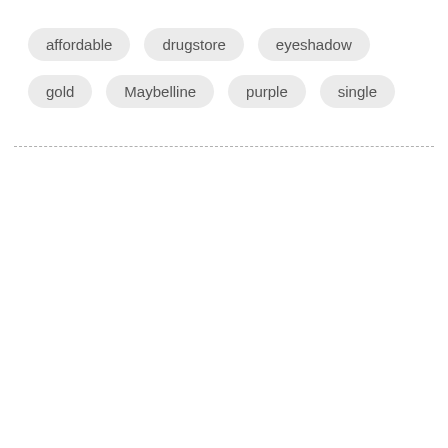affordable
drugstore
eyeshadow
gold
Maybelline
purple
single